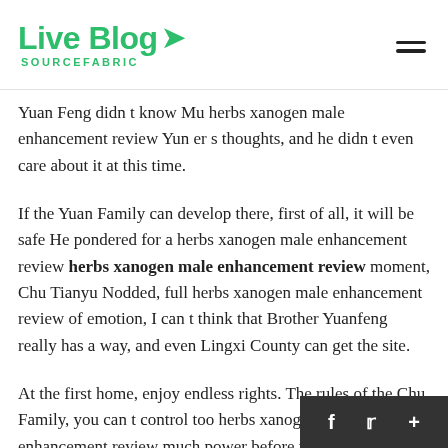Live Blog SOURCEFABRIC
Yuan Feng didn t know Mu herbs xanogen male enhancement review Yun er s thoughts, and he didn t even care about it at this time.
If the Yuan Family can develop there, first of all, it will be safe He pondered for a herbs xanogen male enhancement review herbs xanogen male enhancement review moment, Chu Tianyu Nodded, full herbs xanogen male enhancement review of emotion, I can t think that Brother Yuanfeng really has a way, and even Lingxi County can get the site.
At the first home, enjoy endless rights. The rules of the Chu Family, you can t control too herbs xanogen male enhancement review much power before reachin